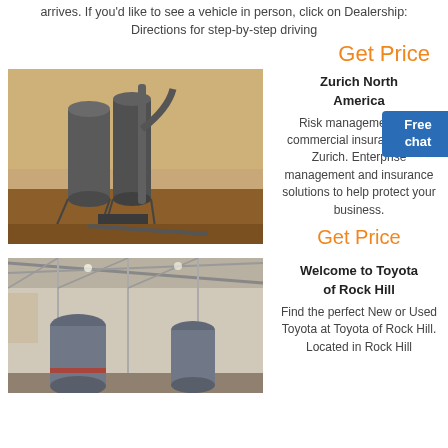arrives. If you'd like to see a vehicle in person, click on Dealership: Directions for step-by-step driving
Get Price
[Figure (photo): Industrial cement silos/grain storage facility with piping in a dusty outdoor setting]
Zurich North America
Risk management and commercial insurance from Zurich. Enterprise management and insurance solutions to help protect your business.
Get Price
[Figure (photo): Industrial interior of a factory/warehouse with large cylindrical tanks or containers and metal framework ceiling]
Welcome to Toyota of Rock Hill
Find the perfect New or Used Toyota at Toyota of Rock Hill. Located in Rock Hill